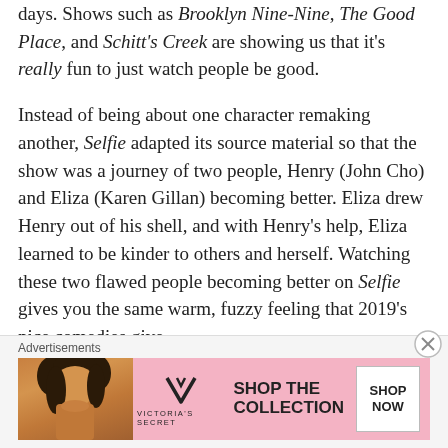days. Shows such as Brooklyn Nine-Nine, The Good Place, and Schitt's Creek are showing us that it's really fun to just watch people be good.

Instead of being about one character remaking another, Selfie adapted its source material so that the show was a journey of two people, Henry (John Cho) and Eliza (Karen Gillan) becoming better. Eliza drew Henry out of his shell, and with Henry's help, Eliza learned to be kinder to others and herself. Watching these two flawed people becoming better on Selfie gives you the same warm, fuzzy feeling that 2019's nice comedies give
Advertisements
[Figure (other): Victoria's Secret advertisement banner with a woman's photo on the left, VS logo in center, 'SHOP THE COLLECTION' text, and a 'SHOP NOW' button on the right, pink background.]